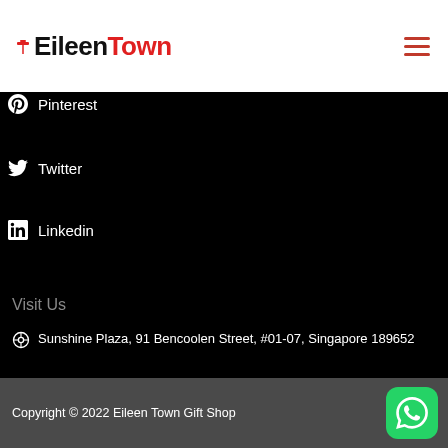[Figure (screenshot): EileenTown website navigation bar with logo and hamburger menu icon on white background]
Google (partially visible)
YouTube (partially visible)
Pinterest
Twitter
Linkedin
Visit Us
Sunshine Plaza, 91 Bencoolen Street, #01-07, Singapore 189652
65131383
96679796 (WhatsApp)
gift@eileentown.com
Copyright © 2022 Eileen Town Gift Shop